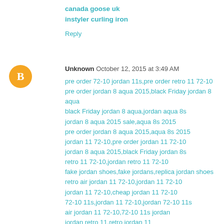canada goose uk
instyler curling iron
Reply
Unknown  October 12, 2015 at 3:49 AM
pre order 72-10 jordan 11s,pre order retro 11 72-10
pre order jordan 8 aqua 2015,black Friday jordan 8 aqua
black Friday jordan 8 aqua,jordan aqua 8s
jordan 8 aqua 2015 sale,aqua 8s 2015
pre order jordan 8 aqua 2015,aqua 8s 2015
jordan 11 72-10,pre order jordan 11 72-10
jordan 8 aqua 2015,black Friday jordan 8s
retro 11 72-10,jordan retro 11 72-10
fake jordan shoes,fake jordans,replica jordan shoes
retro air jordan 11 72-10,jordan 11 72-10
jordan 11 72-10,cheap jordan 11 72-10
72-10 11s,jordan 11 72-10,jordan 72-10 11s
air jordan 11 72-10,72-10 11s jordan
jordan retro 11,retro jordan 11
moncler outlet,moncler jackets outlet
UGG...